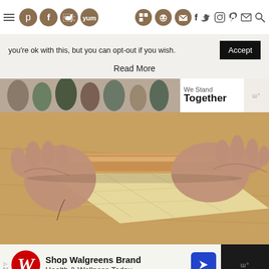Social media navigation bar with icons: Pinterest, Facebook, Twitter, Yummly, and additional icons
you're ok with this, but you can opt-out if you wish.
Accept
Read More
[Figure (photo): Advertisement banner showing people with text 'We Stand Together']
[Figure (photo): Hands rolling out pasta dough on a wooden surface with a rolling pin]
[Figure (photo): Walgreens advertisement: Shop Walgreens Brand Health & Wellness Today]